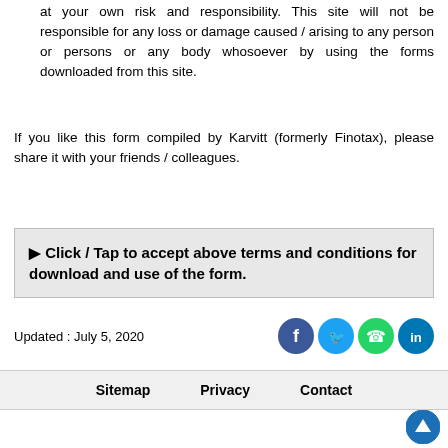at your own risk and responsibility. This site will not be responsible for any loss or damage caused / arising to any person or persons or any body whosoever by using the forms downloaded from this site.
If you like this form compiled by Karvitt (formerly Finotax), please share it with your friends / colleagues.
► Click / Tap to accept above terms and conditions for download and use of the form.
Updated : July 5, 2020
Sitemap   Privacy   Contact